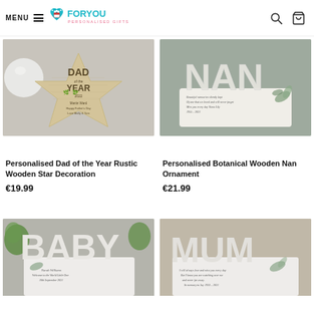MENU | ForYou Personalised Gifts logo | search icon | cart icon
[Figure (photo): Personalised wooden star decoration with 'DAD of the Year' engraving, placed on grey surface with round lamp in background]
Personalised Dad of the Year Rustic Wooden Star Decoration
€19.99
[Figure (photo): White wooden NAN ornament with botanical leaf design and personalised memorial text, against grey-green background]
Personalised Botanical Wooden Nan Ornament
€21.99
[Figure (photo): White wooden BABY ornament with botanical design and personalised text, partially visible, with green plants in background]
[Figure (photo): White wooden MUM ornament with botanical design and personalised text, partially visible, warm background]